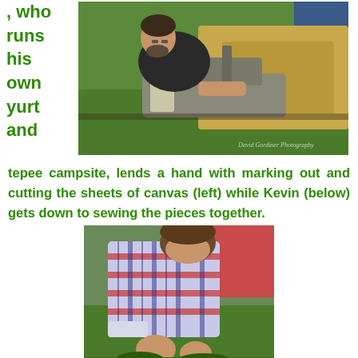, who runs his own yurt and
[Figure (photo): Man operating a sewing machine outdoors, working with khaki/tan canvas fabric, seated at an industrial sewing machine in a green outdoor setting. Watermark reads 'David Gordiner Photography'.]
tepee campsite, lends a hand with marking out and cutting the sheets of canvas (left) while Kevin (below) gets down to sewing the pieces together.
[Figure (photo): Young man bending over, wearing a red/blue plaid shirt, working with his hands close to the ground, with green foliage visible beneath him and another person in a pink/red top beside him.]